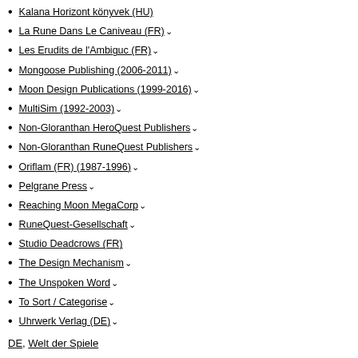Kalana Horizont könyvek (HU)
La Rune Dans Le Caniveau (FR)
Les Erudits de l'Ambiguc (FR)
Mongoose Publishing (2006-2011)
Moon Design Publications (1999-2016)
MultiSim (1992-2003)
Non-Gloranthan HeroQuest Publishers
Non-Gloranthan RuneQuest Publishers
Oriflam (FR) (1987-1996)
Pelgrane Press
Reaching Moon MegaCorp
RuneQuest-Gesellschaft
Studio Deadcrows (FR)
The Design Mechanism
The Unspoken Word
To Sort / Categorise
Uhrwerk Verlag (DE)
DE, Welt der Spiele